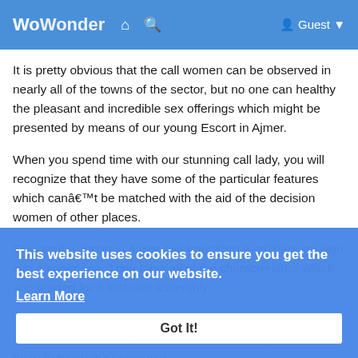[Figure (screenshot): WoWonder website navigation bar with logo, home icon, search icon, and Guest dropdown on blue background]
It is pretty obvious that the call women can be observed in nearly all of the towns of the sector, but no one can healthy the pleasant and incredible sex offerings which might be presented by means of our young Escort in Ajmer.
When you spend time with our stunning call lady, you will recognize that they have some of the particular features which canâ€™t be matched with the aid of the decision women of other places.
Our nearby escort in Ajmer can transform a ordinary session into a super one. They have all of the characteristics which are needed for a first-rate assembly.
The majority of our name girls come from the high-elegance societies and like to spend time with the strangers and lead them to touch their personal
This website uses cookies to ensure you get the best experience on our website.
Learn More
Got It!